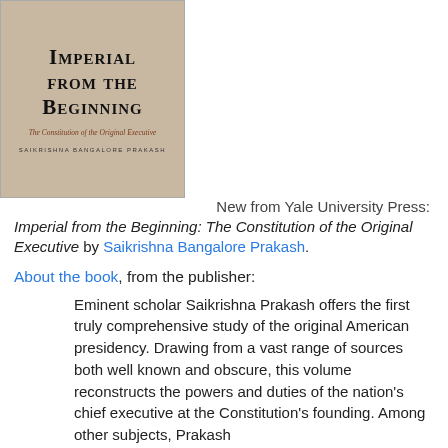[Figure (photo): Book cover of 'Imperial from the Beginning: The Constitution of the Original Executive' by Saikrishna Bangalore Prakash, published by Yale University Press. Cover has a worn parchment/manuscript background with the title in large serif small-caps font and subtitle in smaller red italic text.]
New from Yale University Press:
Imperial from the Beginning: The Constitution of the Original Executive by Saikrishna Bangalore Prakash.
About the book, from the publisher:
Eminent scholar Saikrishna Prakash offers the first truly comprehensive study of the original American presidency. Drawing from a vast range of sources both well known and obscure, this volume reconstructs the powers and duties of the nation's chief executive at the Constitution's founding. Among other subjects, Prakash